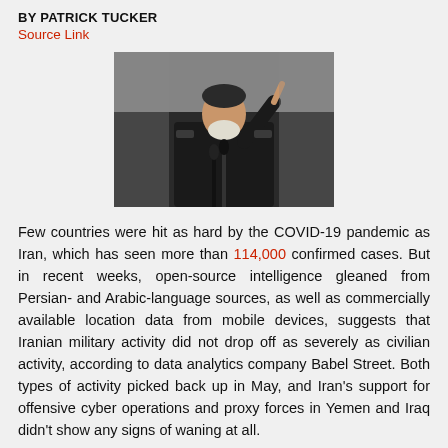BY PATRICK TUCKER
Source Link
[Figure (photo): A man in military uniform speaking at a podium with microphones, pointing upward with one hand.]
Few countries were hit as hard by the COVID-19 pandemic as Iran, which has seen more than 114,000 confirmed cases. But in recent weeks, open-source intelligence gleaned from Persian- and Arabic-language sources, as well as commercially available location data from mobile devices, suggests that Iranian military activity did not drop off as severely as civilian activity, according to data analytics company Babel Street. Both types of activity picked back up in May, and Iran's support for offensive cyber operations and proxy forces in Yemen and Iraq didn't show any signs of waning at all.
Babel Street's analysis drew on commercial telemetry data, or CTD, gleaned from things like apps that collect users' location. The company said the data was aggregated in May...